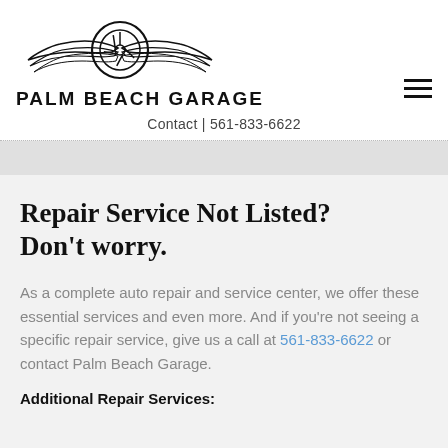[Figure (logo): Palm Beach Garage logo: a winged wheel/tire emblem above the text PALM BEACH GARAGE]
Contact | 561-833-6622
Repair Service Not Listed? Don't Worry.
As a complete auto repair and service center, we offer these essential services and even more. And if you're not seeing a specific repair service, give us a call at 561-833-6622 or contact Palm Beach Garage.
Additional Repair Services: